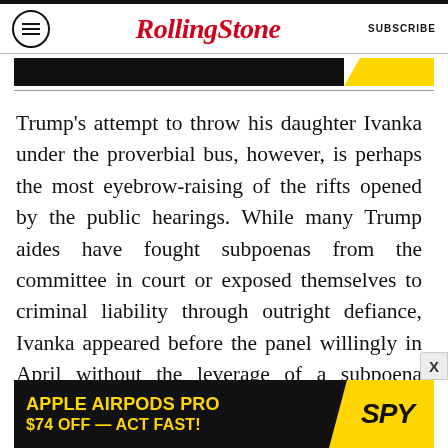RollingStone  SUBSCRIBE
[Figure (screenshot): Partial ad banner – black background with yellow section on right]
Trump's attempt to throw his daughter Ivanka under the proverbial bus, however, is perhaps the most eyebrow-raising of the rifts opened by the public hearings. While many Trump aides have fought subpoenas from the committee in court or exposed themselves to criminal liability through outright defiance, Ivanka appeared before the panel willingly in April without the leverage of a subpoena against her and was reportedly cooperative.
[Figure (screenshot): Advertisement banner: APPLE AIRPODS PRO $74 OFF — ACT FAST! with SPY logo on yellow background]